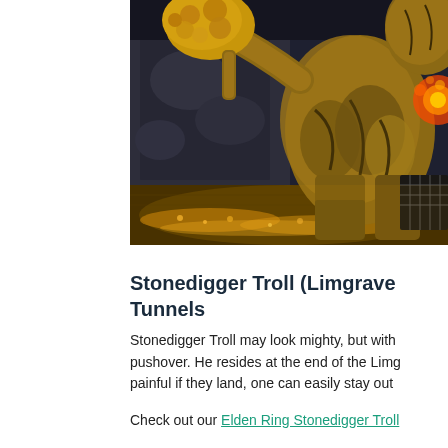[Figure (screenshot): Screenshot from Elden Ring showing the Stonedigger Troll enemy in a dark cave tunnel environment. The troll is a large creature with a golden rocky club/weapon raised. The cave floor is covered with glowing golden items/runes. The creature is partially cropped on the right side of the frame.]
Stonedigger Troll (Limgrave Tunnels
Stonedigger Troll may look mighty, but with pushover. He resides at the end of the Limg painful if they land, one can easily stay out
Check out our Elden Ring Stonedigger Troll